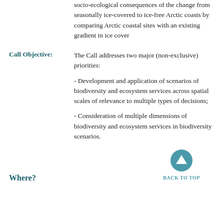socio-ecological consequences of the change from seasonally ice-covered to ice-free Arctic coasts by comparing Arctic coastal sites with an existing gradient in ice cover
Call Objective:
The Call addresses two major (non-exclusive) priorities:

- Development and application of scenarios of biodiversity and ecosystem services across spatial scales of relevance to multiple types of decisions;

- Consideration of multiple dimensions of biodiversity and ecosystem services in biodiversity scenarios.
BACK TO TOP
Where?